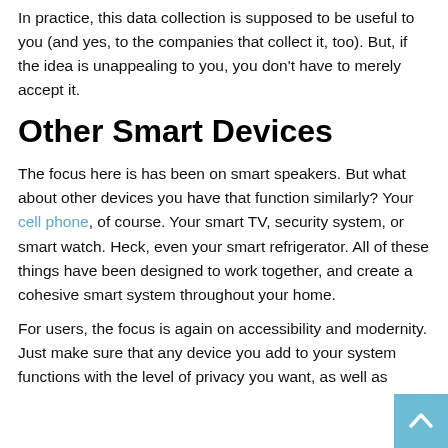In practice, this data collection is supposed to be useful to you (and yes, to the companies that collect it, too). But, if the idea is unappealing to you, you don't have to merely accept it.
Other Smart Devices
The focus here is has been on smart speakers. But what about other devices you have that function similarly? Your cell phone, of course. Your smart TV, security system, or smart watch. Heck, even your smart refrigerator. All of these things have been designed to work together, and create a cohesive smart system throughout your home.
For users, the focus is again on accessibility and modernity. Just make sure that any device you add to your system functions with the level of privacy you want, as well as